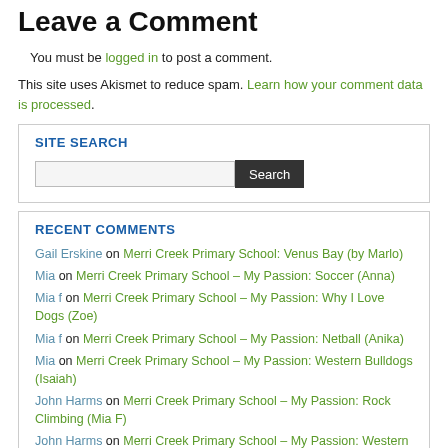Leave a Comment
You must be logged in to post a comment.
This site uses Akismet to reduce spam. Learn how your comment data is processed.
SITE SEARCH
RECENT COMMENTS
Gail Erskine on Merri Creek Primary School: Venus Bay (by Marlo)
Mia on Merri Creek Primary School – My Passion: Soccer (Anna)
Mia f on Merri Creek Primary School – My Passion: Why I Love Dogs (Zoe)
Mia f on Merri Creek Primary School – My Passion: Netball (Anika)
Mia on Merri Creek Primary School – My Passion: Western Bulldogs (Isaiah)
John Harms on Merri Creek Primary School – My Passion: Rock Climbing (Mia F)
John Harms on Merri Creek Primary School – My Passion: Western Bulldogs (Isaiah)